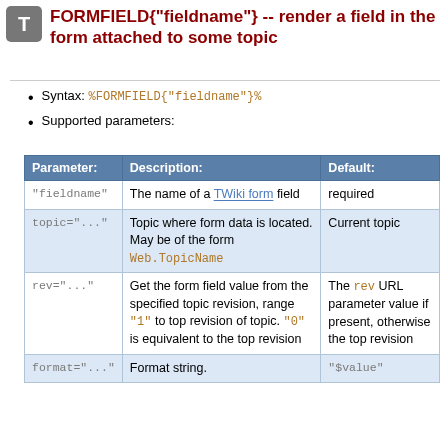[Figure (logo): T icon in a grey rounded square]
FORMFIELD{"fieldname"} -- render a field in the form attached to some topic
Syntax: %FORMFIELD{"fieldname"}%
Supported parameters:
| Parameter: | Description: | Default: |
| --- | --- | --- |
| "fieldname" | The name of a TWiki form field | required |
| topic="..." | Topic where form data is located. May be of the form Web.TopicName | Current topic |
| rev="..." | Get the form field value from the specified topic revision, range "1" to top revision of topic. "0" is equivalent to the top revision | The rev URL parameter value if present, otherwise the top revision |
| format="..." | Format string. | "$value" |